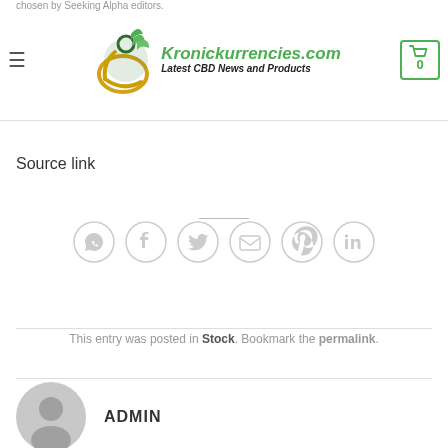Kronickurrencies.com — Latest CBD News and Products
chosen by Seeking Alpha editors.
Source link
[Figure (other): Social sharing icons row: WhatsApp, Facebook, Twitter, Email, Pinterest, LinkedIn]
This entry was posted in Stock. Bookmark the permalink.
ADMIN